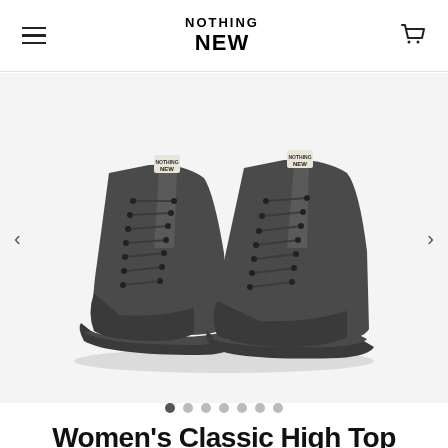NOTHING NEW
[Figure (photo): Pair of dark charcoal/grey high-top canvas sneakers with matching dark laces, eyelets, and rubber sole, displayed on a light grey background. The tongue tags read 'NOTHING NEW'. Left shoe is shown from the side, right shoe from a 3/4 angle.]
Women's Classic High Top